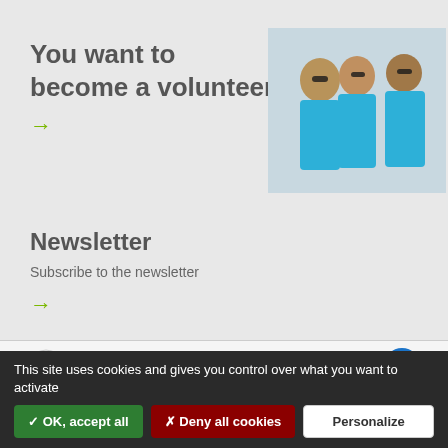You want to become a volunteer?
[Figure (photo): Three volunteers wearing blue t-shirts and sunglasses, posing together]
Newsletter
Subscribe to the newsletter
[Figure (logo): Sponsor logos bar including Runner's and Savoie logos]
This site uses cookies and gives you control over what you want to activate